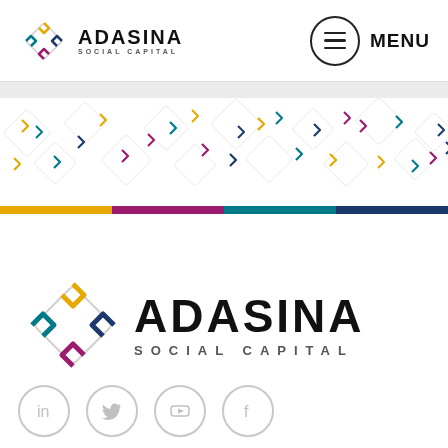[Figure (logo): Adasina Social Capital logo in header - small version with colored diamond icon and text]
[Figure (other): Hamburger menu button inside circle with MENU text]
[Figure (illustration): Decorative repeating diamond/chevron pattern band in multiple colors (teal, gold, magenta, dark blue) on white background, with four-color horizontal stripe at bottom]
[Figure (logo): Adasina Social Capital large logo - colored diamond icon and bold ADASINA text with SOCIAL CAPITAL subtitle]
[Figure (other): Social media icons row: LinkedIn, Twitter, YouTube, Facebook - circular outlined buttons]